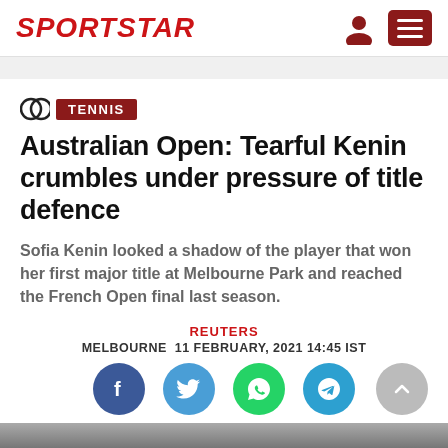SPORTSTAR
TENNIS
Australian Open: Tearful Kenin crumbles under pressure of title defence
Sofia Kenin looked a shadow of the player that won her first major title at Melbourne Park and reached the French Open final last season.
REUTERS
MELBOURNE  11 FEBRUARY, 2021 14:45 IST
[Figure (illustration): Social sharing buttons: Facebook, Twitter, WhatsApp, Telegram; scroll-to-top button]
[Figure (photo): Partial photo of a tennis player at the bottom of the page]